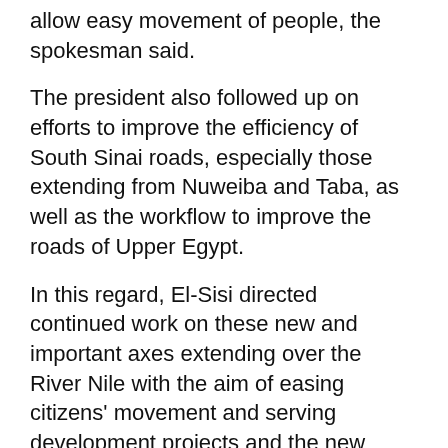allow easy movement of people, the spokesman said.
The president also followed up on efforts to improve the efficiency of South Sinai roads, especially those extending from Nuweiba and Taba, as well as the workflow to improve the roads of Upper Egypt.
In this regard, El-Sisi directed continued work on these new and important axes extending over the River Nile with the aim of easing citizens' movement and serving development projects and the new urban communities.
The meeting followed up on efforts to upgrade the area where a monorail station is being established in Youssef Abbas Street in Nasr City as well as the area of Al-Shams Club and the surrounding lands.
The president was also briefed on the efforts to utilise the empty lands located on the sides of the axes and roads for the construction of alternative housing units and reviewed the executive position of the International Motor City.